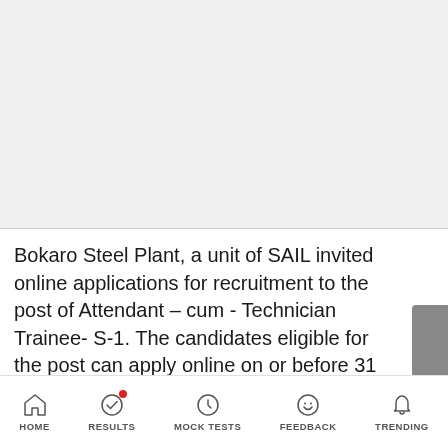[Figure (other): Gray advertisement/image placeholder area at the top of the page]
Bokaro Steel Plant, a unit of SAIL invited online applications for recruitment to the post of Attendant – cum - Technician Trainee- S-1. The candidates eligible for the post can apply online on or before 31 January 2014. SAIL is the leading steel-making company in India. It is a fully integrated iron and steel maker
HOME   RESULTS   MOCK TESTS   FEEDBACK   TRENDING